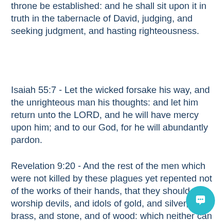throne be established: and he shall sit upon it in truth in the tabernacle of David, judging, and seeking judgment, and hasting righteousness.
Isaiah 55:7 - Let the wicked forsake his way, and the unrighteous man his thoughts: and let him return unto the LORD, and he will have mercy upon him; and to our God, for he will abundantly pardon.
Revelation 9:20 - And the rest of the men which were not killed by these plagues yet repented not of the works of their hands, that they should not worship devils, and idols of gold, and silver, and brass, and stone, and of wood: which neither can see, nor hear, nor w... Neither repented they of their murders, nor of their sorceries, nor